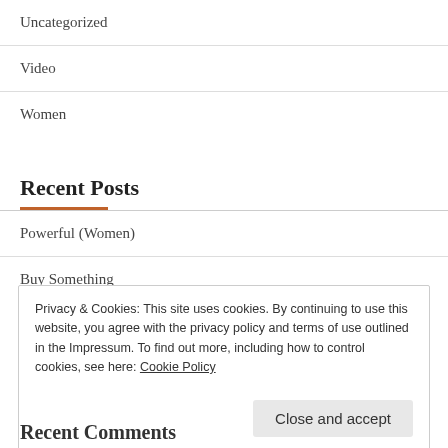Uncategorized
Video
Women
Recent Posts
Powerful (Women)
Buy Something
Privacy & Cookies: This site uses cookies. By continuing to use this website, you agree with the privacy policy and terms of use outlined in the Impressum. To find out more, including how to control cookies, see here: Cookie Policy
Close and accept
Recent Comments